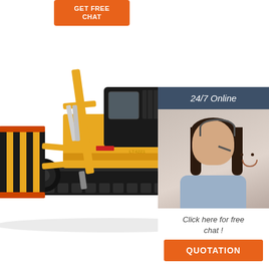[Figure (illustration): Orange button/badge at top left corner of the page, partially visible, with white text (partially readable as a service/contact label).]
[Figure (photo): Large yellow and black tracked drilling/construction machine (crawler drill rig, model LT422 or similar) photographed on white background, facing left, with yellow hydraulic arms and black striped safety guards at the front.]
[Figure (infographic): Chat/contact panel on the right side: dark blue-grey header with '24/7 Online' text in italic white; photo of smiling woman wearing headset; white section with italic text 'Click here for free chat !'; orange button with 'QUOTATION' text.]